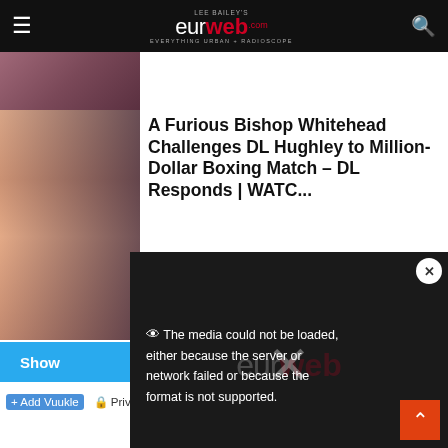Lee Bailey's EURweb — Everything Urban + Radioscope
[Figure (photo): Cropped thumbnail image of people at top of page]
[Figure (photo): Article thumbnail image showing two people — one in hat, one with glasses]
A Furious Bishop Whitehead Challenges DL Hughley to Million-Dollar Boxing Match – DL Responds | WATC...
1 Comment  ☀ 33%
Show
Add Vuukle  Privacy
The media could not be loaded, either because the server or network failed or because the format is not supported.
Ac